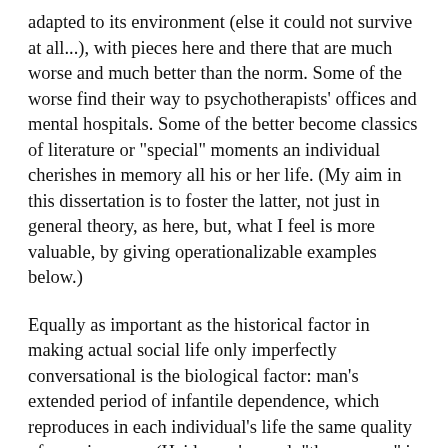adapted to its environment (else it could not survive at all...), with pieces here and there that are much worse and much better than the norm. Some of the worse find their way to psychotherapists' offices and mental hospitals. Some of the better become classics of literature or "special" moments an individual cherishes in memory all his or her life. (My aim in this dissertation is to foster the latter, not just in general theory, as here, but, what I feel is more valuable, by giving operationalizable examples below.)
Equally as important as the historical factor in making actual social life only imperfectly conversational is the biological factor: man's extended period of infantile dependence, which reproduces in each individual's life the same quality of pre-givenness (Heidegger's word: "thrownness" is apposite here) as its form of social life has for each society as a whole. Persons do not enter society as autonomous, knowledgeable individuals who voluntarily